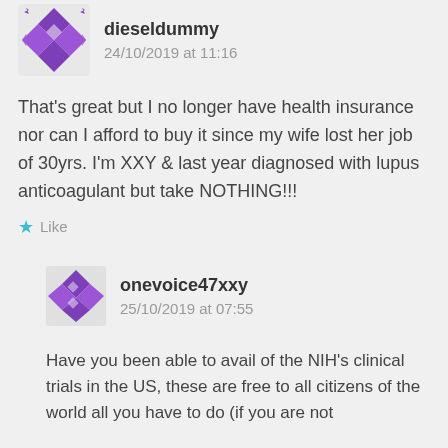[Figure (illustration): Purple geometric/quilt-pattern avatar icon for user dieseldummy]
dieseldummy
24/10/2019 at 11:16
That’s great but I no longer have health insurance nor can I afford to buy it since my wife lost her job of 30yrs. I’m XXY & last year diagnosed with lupus anticoagulant but take NOTHING!!!
Like
[Figure (illustration): Purple geometric/quilt-pattern avatar icon for user onevoice47xxy]
onevoice47xxy
25/10/2019 at 07:55
Have you been able to avail of the NIH’s clinical trials in the US, these are free to all citizens of the world all you have to do (if you are not